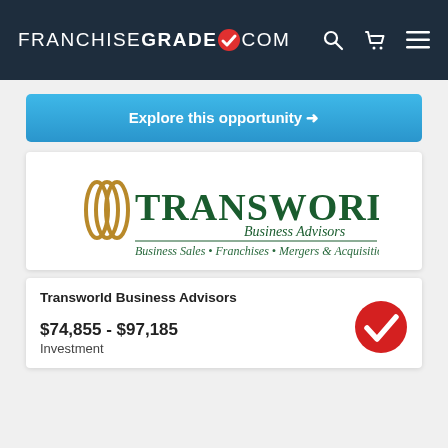FRANCHISEGRADE.COM
[Figure (other): Blue button with text 'Explore this opportunity →']
[Figure (logo): Transworld Business Advisors logo with tagline: Business Sales • Franchises • Mergers & Acquisitions]
Transworld Business Advisors
$74,855 - $97,185
Investment